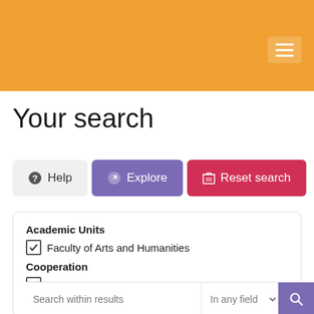[Figure (screenshot): Orange header bar with hamburger menu icon]
Your search
Help | Explore | Reset search
Academic Units
Faculty of Arts and Humanities
Cooperation
Macau
City University of Macau
Search within results | In any field